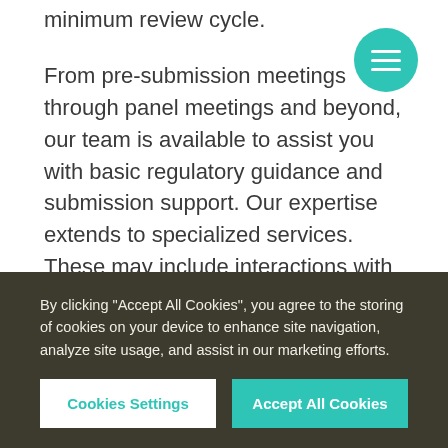minimum review cycle.
From pre-submission meetings through panel meetings and beyond, our team is available to assist you with basic regulatory guidance and submission support. Our expertise extends to specialized services. These may include interactions with numerous regulatory divisions such as notified bodies or FDA Office of the Ombudsman regarding scientific disputes, or the preparation of 513(g) Request for Designation
By clicking "Accept All Cookies", you agree to the storing of cookies on your device to enhance site navigation, analyze site usage, and assist in our marketing efforts.